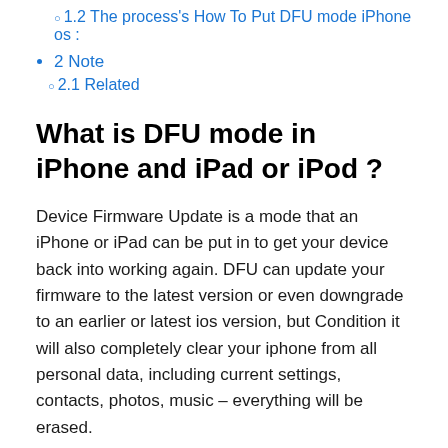1.2 The process's How To Put DFU mode iPhone os :
2 Note
2.1 Related
What is DFU mode in iPhone and iPad or iPod ?
Device Firmware Update is a mode that an iPhone or iPad can be put in to get your device back into working again. DFU can update your firmware to the latest version or even downgrade to an earlier or latest ios version, but Condition it will also completely clear your iphone from all personal data, including current settings, contacts, photos, music – everything will be erased.